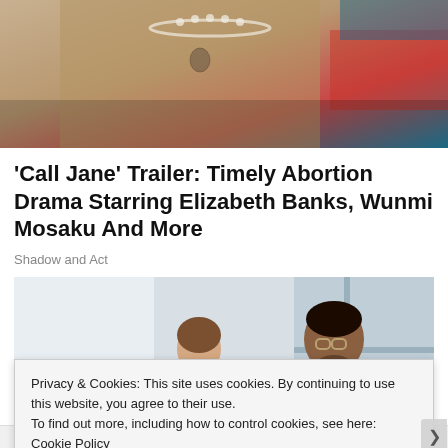[Figure (photo): Top portion of an image showing a person wearing a beige/tan coat with a pearl necklace, partial view against a colorful background]
'Call Jane' Trailer: Timely Abortion Drama Starring Elizabeth Banks, Wunmi Mosaku And More
Shadow and Act
[Figure (photo): A male doctor in blue scrubs wearing glasses and a stethoscope examining or interacting with a young girl in a white top, in a clinical setting]
Privacy & Cookies: This site uses cookies. By continuing to use this website, you agree to their use.
To find out more, including how to control cookies, see here: Cookie Policy
Close and accept